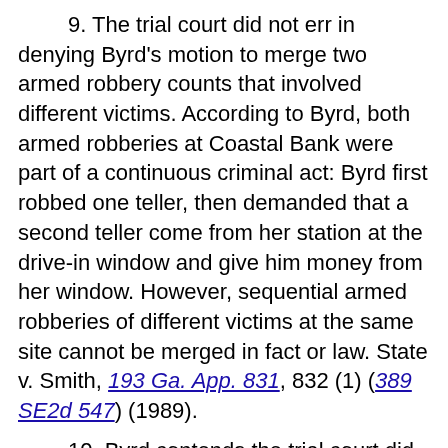9. The trial court did not err in denying Byrd's motion to merge two armed robbery counts that involved different victims. According to Byrd, both armed robberies at Coastal Bank were part of a continuous criminal act: Byrd first robbed one teller, then demanded that a second teller come from her station at the drive-in window and give him money from her window. However, sequential armed robberies of different victims at the same site cannot be merged in fact or law. State v. Smith, 193 Ga. App. 831, 832 (1) (389 SE2d 547) (1989).
10. Byrd contends the trial court did not clearly instruct the jury that they...